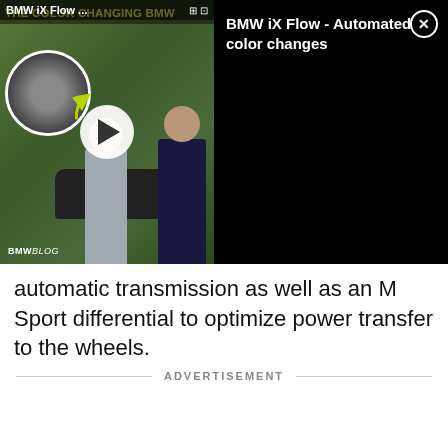[Figure (screenshot): Embedded video player showing BMW iX Flow color-changing car video. Left side shows thumbnail with two people standing next to a BMW car, a circular inset of the car, a play button, and BMWBLOG watermark. Right side shows black panel with title 'BMW iX Flow - Automated color changes' and a close button.]
automatic transmission as well as an M Sport differential to optimize power transfer to the wheels.
ADVERTISEMENT